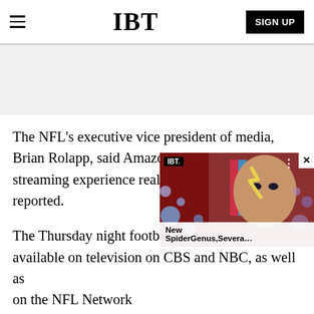IBT
[Figure (other): Gray advertisement banner area]
The NFL’s executive vice president of media, Brian Rolapp, said Amazon’s “deep and rich streaming experience really caught ou[r attention],” reported.
[Figure (other): IBT popup overlay showing a face with colorful makeup and floating orbs, with caption 'New SpiderGenus,Severa...']
The Thursday night footbal[l games will be] available on television on CBS and NBC, as well as on the NFL Network